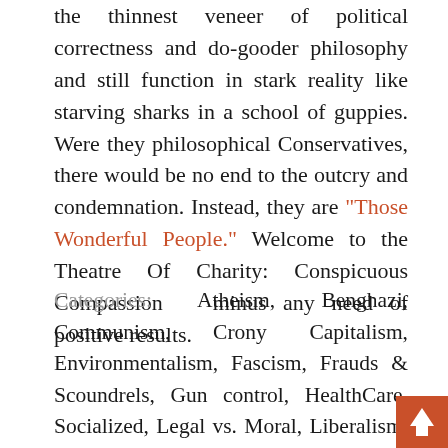the thinnest veneer of political correctness and do-gooder philosophy and still function in stark reality like starving sharks in a school of guppies. Were they philosophical Conservatives, there would be no end to the outcry and condemnation. Instead, they are "Those Wonderful People." Welcome to the Theatre Of Charity: Conspicuous Compassion minus any need of positive results.
Categories: Atheism, Benghazi, Communism, Crony Capitalism, Environmentalism, Fascism, Frauds & Scoundrels, Gun control, HealthCare, Socialized, Legal vs. Moral, Liberalism, Libertarianism, Media Bias, Money, Multiculturalism, Newspeak, Obama, Barack & Michelle, Occu-Pod People, Orwell, Racial Grievance Industry, Socialism, Taxes, The Clinto...